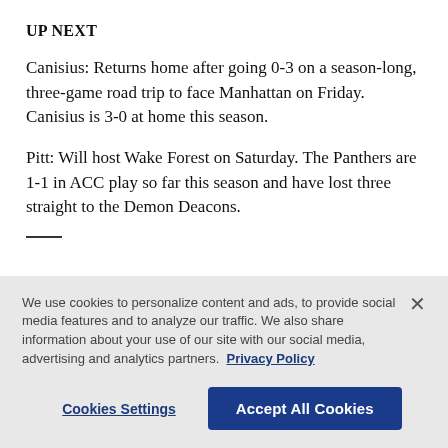UP NEXT
Canisius: Returns home after going 0-3 on a season-long, three-game road trip to face Manhattan on Friday. Canisius is 3-0 at home this season.
Pitt: Will host Wake Forest on Saturday. The Panthers are 1-1 in ACC play so far this season and have lost three straight to the Demon Deacons.
We use cookies to personalize content and ads, to provide social media features and to analyze our traffic. We also share information about your use of our site with our social media, advertising and analytics partners. Privacy Policy
Cookies Settings
Accept All Cookies